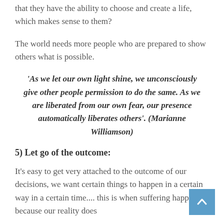that they have the ability to choose and create a life, which makes sense to them?
The world needs more people who are prepared to show others what is possible.
'As we let our own light shine, we unconsciously give other people permission to do the same. As we are liberated from our own fear, our presence automatically liberates others'. (Marianne Williamson)
5) Let go of the outcome:
It's easy to get very attached to the outcome of our decisions, we want certain things to happen in a certain way in a certain time.... this is when suffering happens, because our reality does